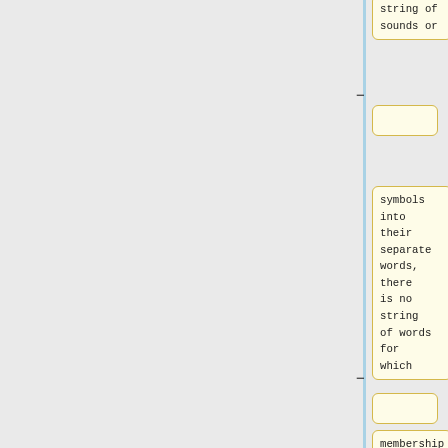string of
sounds or
symbols into
their
separate
words, there
is no string
of words for
which
membership
in the
language is
undecidable.
Whether or
not that
holds for